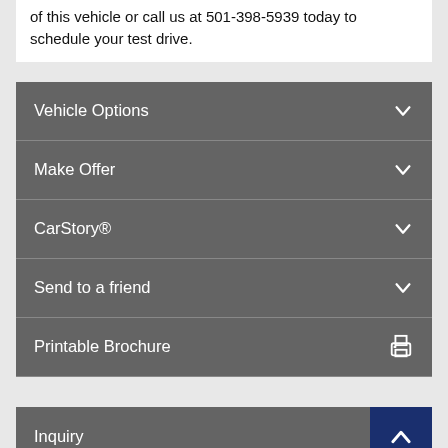of this vehicle or call us at 501-398-5939 today to schedule your test drive.
Vehicle Options
Make Offer
CarStory®
Send to a friend
Printable Brochure
Inquiry
Text Us